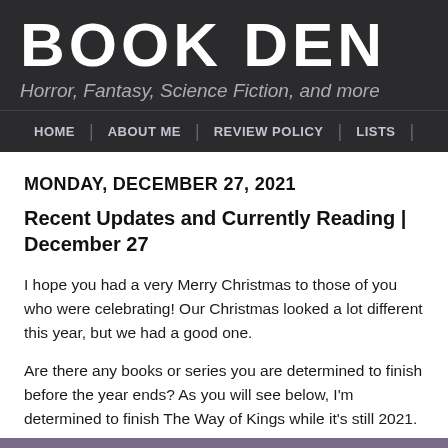BOOK DEN
Horror, Fantasy, Science Fiction, and more
HOME | ABOUT ME | REVIEW POLICY | LISTS
MONDAY, DECEMBER 27, 2021
Recent Updates and Currently Reading | December 27
I hope you had a very Merry Christmas to those of you who were celebrating! Our Christmas looked a lot different this year, but we had a good one.
Are there any books or series you are determined to finish before the year ends? As you will see below, I'm determined to finish The Way of Kings while it's still 2021.